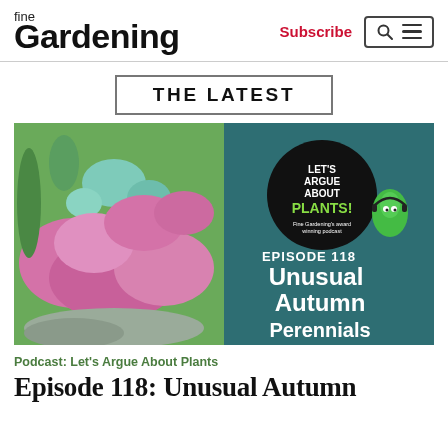fine Gardening
Subscribe
THE LATEST
[Figure (photo): Podcast thumbnail: Let's Argue About Plants – Episode 118: Unusual Autumn Perennials. Shows pink flowering perennials and succulents with a circular logo overlay and large white text.]
Podcast: Let's Argue About Plants
Episode 118: Unusual Autumn